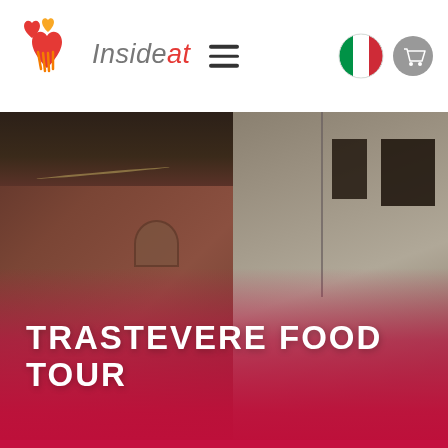[Figure (logo): Insideat logo with red heart and orange fork icon, and the brand name 'Insideat' in grey italic text]
[Figure (other): Hamburger menu icon (three horizontal lines)]
[Figure (other): Italian flag circle icon and shopping cart icon]
[Figure (photo): Photo of a historic building in Trastevere, Rome, with stone walls, an arched window, terracotta rooftop, and blue sky. The lower portion has a deep red/magenta gradient overlay with the text TRASTEVERE FOOD TOUR in white capital letters.]
TRASTEVERE FOOD TOUR